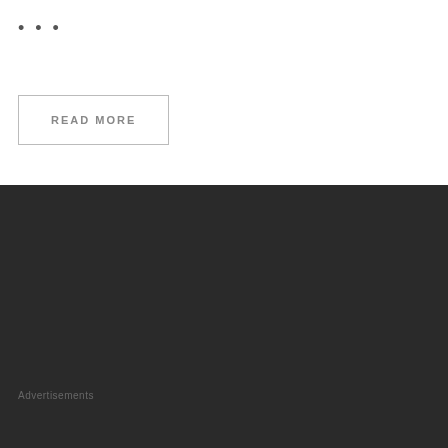...
READ MORE
Advertisements
Privacy Policy / Contact Us / Write for us
© 2022 Wishes, Messages, Travel, Lifestyle, Tips in English, Hindi and Nepali Mount Everest Quotes